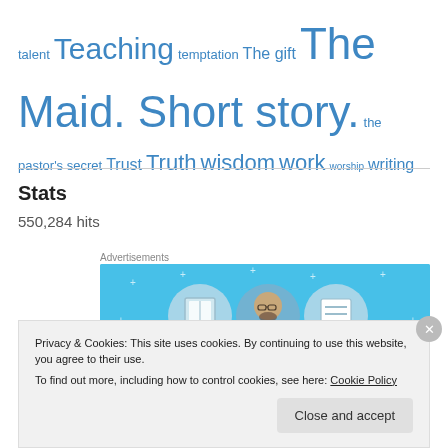talent Teaching temptation The gift The Maid. Short story. the pastor's secret Trust Truth wisdom work worship writing
Stats
550,284 hits
Advertisements
[Figure (illustration): Advertisement banner with light blue background showing three circular icons: a door/book, a person with glasses and beard, and a list/document icon, with small sparkle stars scattered around]
Privacy & Cookies: This site uses cookies. By continuing to use this website, you agree to their use.
To find out more, including how to control cookies, see here: Cookie Policy
Close and accept